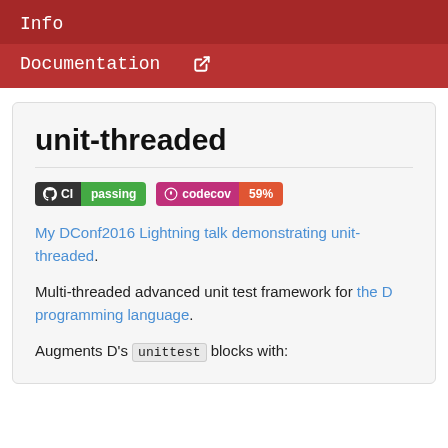Info
Documentation ↗
unit-threaded
[Figure (other): CI passing badge and codecov 59% badge]
My DConf2016 Lightning talk demonstrating unit-threaded.
Multi-threaded advanced unit test framework for the D programming language.
Augments D's unittest blocks with: